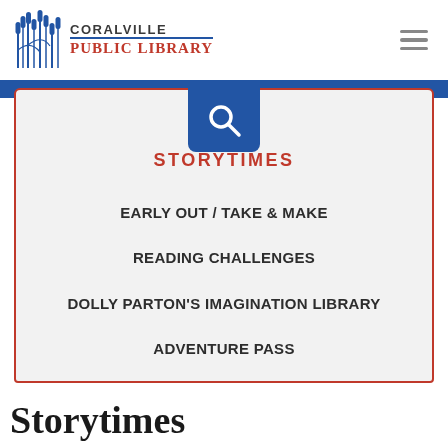CORALVILLE PUBLIC LIBRARY
STORYTIMES
EARLY OUT / TAKE & MAKE
READING CHALLENGES
DOLLY PARTON'S IMAGINATION LIBRARY
ADVENTURE PASS
Storytimes